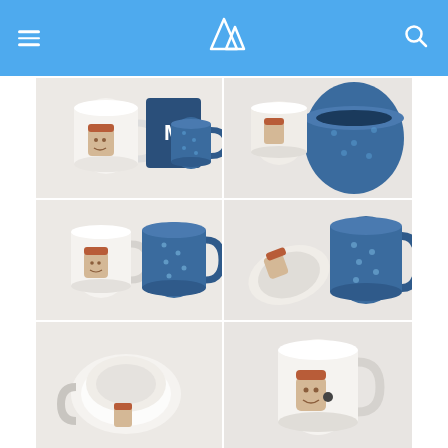Website header with hamburger menu, mountain logo, and search icon
[Figure (photo): Grid of 6 product photos showing ceramic coffee mugs - white mug with cute coffee cup illustration and blue polka-dot mug in various arrangements, angles, and packaging]
[Figure (photo): Top-left: white mug with kawaii coffee illustration beside blue 'Mo' branded card and dark blue polka-dot mug]
[Figure (photo): Top-right: overhead view of blue polka-dot mug and smaller white mug with coffee cup illustration]
[Figure (photo): Middle-left: white mug with coffee illustration next to blue polka-dot mug, front view]
[Figure (photo): Middle-right: tipped white mug showing base next to blue polka-dot mug]
[Figure (photo): Bottom-left: white mug tipped on its side showing circular base]
[Figure (photo): Bottom-middle-left: white mug with coffee illustration, front view]
[Figure (photo): Bottom-middle-right: blue polka-dot mug]
[Figure (photo): Bottom-right: white and mug in open cardboard packaging box]